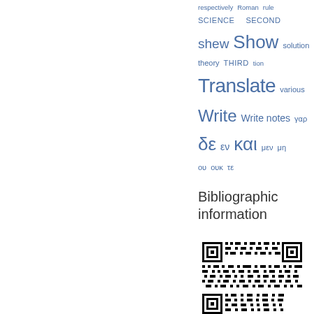[Figure (infographic): Tag cloud with blue words of varying sizes including: respectively, Roman, rule, SCIENCE, SECOND, shew, Show, solution, theory, THIRD, tion, Translate, various, Write, Write notes, γαρ, δε, εν, και, μεν, μη, ου, ουκ, τε]
Bibliographic information
[Figure (other): QR code for bibliographic information]